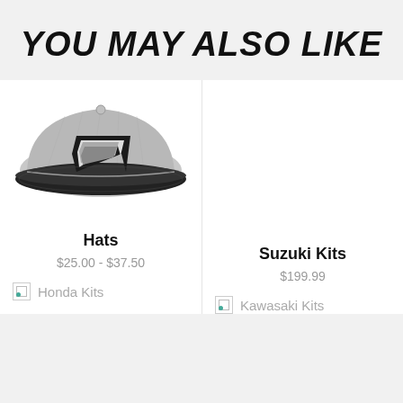YOU MAY ALSO LIKE
[Figure (photo): Grey and black snapback hat with embroidered logo on the front panel]
Hats
$25.00 - $37.50
Honda Kits
[Figure (photo): Placeholder image for Suzuki Kits product]
Suzuki Kits
$199.99
Kawasaki Kits